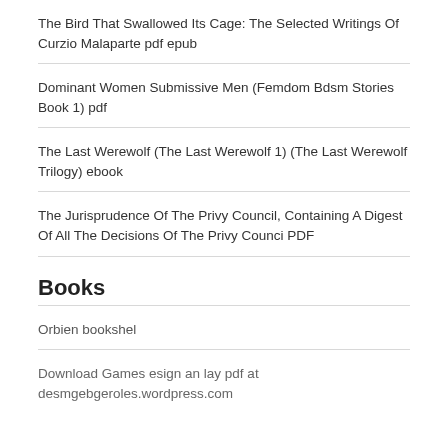The Bird That Swallowed Its Cage: The Selected Writings Of Curzio Malaparte pdf epub
Dominant Women Submissive Men (Femdom Bdsm Stories Book 1) pdf
The Last Werewolf (The Last Werewolf 1) (The Last Werewolf Trilogy) ebook
The Jurisprudence Of The Privy Council, Containing A Digest Of All The Decisions Of The Privy Counci PDF
Books
Orbien bookshel
Download Games esign an lay pdf at desmgebgeroles.wordpress.com